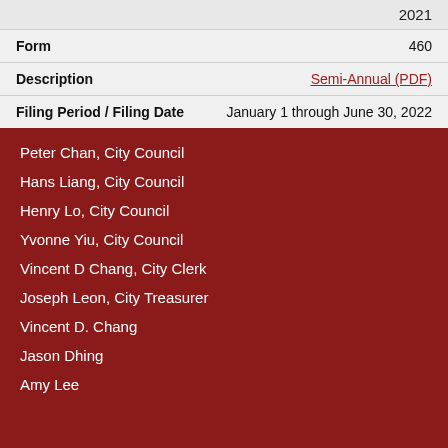|  | 2021 |
| Form | 460 |
| Description | Semi-Annual (PDF) |
| Filing Period / Filing Date | January 1 through June 30, 2022 |
Peter Chan, City Council
Hans Liang, City Council
Henry Lo, City Council
Yvonne Yiu, City Council
Vincent D Chang, City Clerk
Joseph Leon, City Treasurer
Vincent D. Chang
Jason Dhing
Amy Lee